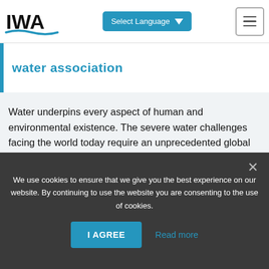IWA — International Water Association — Select Language navigation bar
water association
Water underpins every aspect of human and environmental existence. The severe water challenges facing the world today require an unprecedented global response. IWA members and staff are situated in more than 140 countries worldwide, forming the large…
Read full biography
We use cookies to ensure that we give you the best experience on our website. By continuing to use the website you are consenting to the use of cookies.